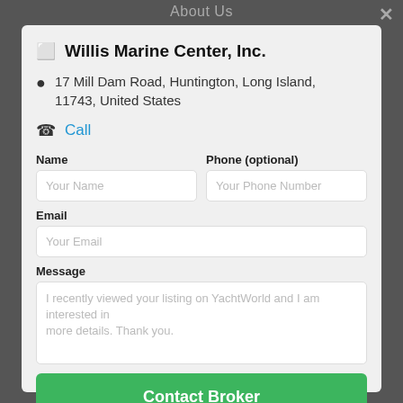About Us
Willis Marine Center, Inc.
17 Mill Dam Road, Huntington, Long Island, 11743, United States
Call
Name
Phone (optional)
Email
Message
I recently viewed your listing on YachtWorld and I am interested in more details. Thank you.
Contact Broker